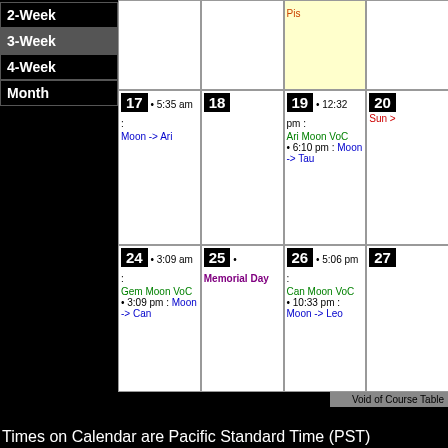2-Week
3-Week
4-Week
Month
| 17 | 18 | 19 | 20 |
| --- | --- | --- | --- |
| • 5:35 am : Moon -> Ari |  | • 12:32 pm : Ari Moon VoC • 6:10 pm : Moon -> Tau | Sun > |
| 24 | 25 | 26 | 27 |
| --- | --- | --- | --- |
| • 3:09 am : Gem Moon VoC • 3:09 pm : Moon -> Can | • Memorial Day | • 5:06 pm : Can Moon VoC • 10:33 pm : Moon -> Leo |  |
Void of Course Tables
Times on Calendar are Pacific Standard Time (PST)